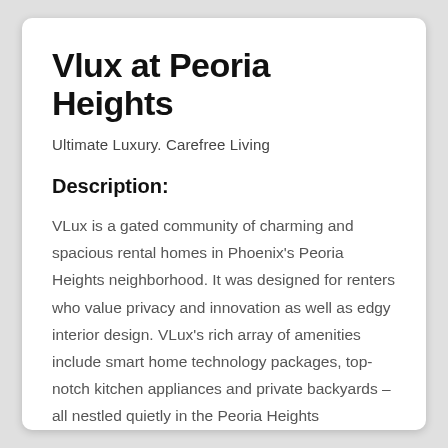Vlux at Peoria Heights
Ultimate Luxury. Carefree Living
Description:
VLux is a gated community of charming and spacious rental homes in Phoenix's Peoria Heights neighborhood. It was designed for renters who value privacy and innovation as well as edgy interior design. VLux's rich array of amenities include smart home technology packages, top-notch kitchen appliances and private backyards – all nestled quietly in the Peoria Heights neighborhood.